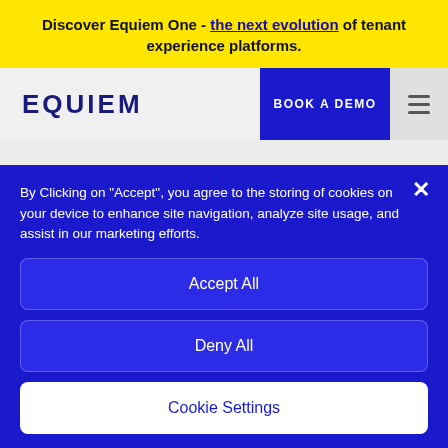Discover Equiem One - the next evolution of tenant experience platforms.
[Figure (logo): Equiem logo in dark navy blue uppercase letters]
Iris supports your goals and ambitions with a simple management interface. Use it to offer all kinds of event types, such as fitness classes,
By Clicking on "Accept", you agree to the storing of cookies on your device to enhance site navigation, analyze site usage, and assist in our marketing efforts.
Accept All
Deny All
Cookie Settings